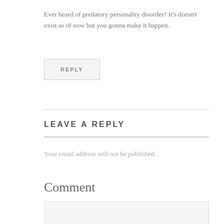Ever heard of predatory personality disorder? It's doesn't exist as of now but you gonna make it happen.
REPLY
LEAVE A REPLY
Your email address will not be published.
Comment